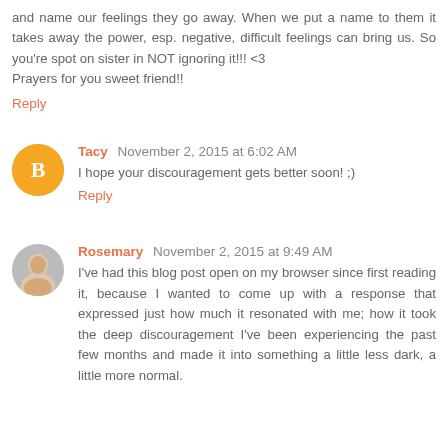and name our feelings they go away. When we put a name to them it takes away the power, esp. negative, difficult feelings can bring us. So you're spot on sister in NOT ignoring it!!! <3
Prayers for you sweet friend!!
Reply
Tacy  November 2, 2015 at 6:02 AM
I hope your discouragement gets better soon! ;)
Reply
Rosemary  November 2, 2015 at 9:49 AM
I've had this blog post open on my browser since first reading it, because I wanted to come up with a response that expressed just how much it resonated with me; how it took the deep discouragement I've been experiencing the past few months and made it into something a little less dark, a little more normal.